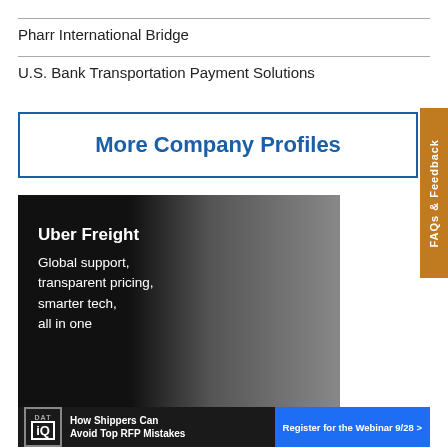Pharr International Bridge
U.S. Bank Transportation Payment Solutions
More Company Profiles
[Figure (photo): Uber Freight advertisement showing a woman with glasses holding a tablet in a warehouse setting, with text: Uber Freight, Global support, transparent pricing, smarter tech, all in one]
[Figure (other): DAT IQ banner ad: How Shippers Can Avoid Top RFP Mistakes — Register for the Webinar 9/28]